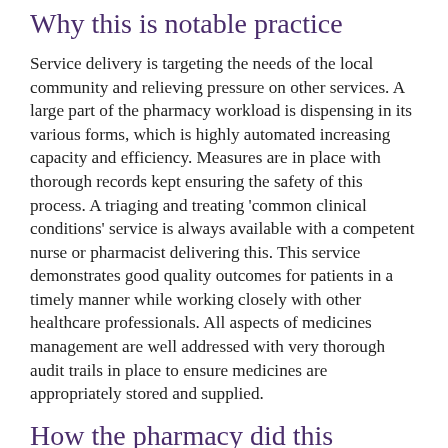Why this is notable practice
Service delivery is targeting the needs of the local community and relieving pressure on other services. A large part of the pharmacy workload is dispensing in its various forms, which is highly automated increasing capacity and efficiency. Measures are in place with thorough records kept ensuring the safety of this process. A triaging and treating 'common clinical conditions' service is always available with a competent nurse or pharmacist delivering this. This service demonstrates good quality outcomes for patients in a timely manner while working closely with other healthcare professionals. All aspects of medicines management are well addressed with very thorough audit trails in place to ensure medicines are appropriately stored and supplied.
How the pharmacy did this
Members as part of the audit, they were also